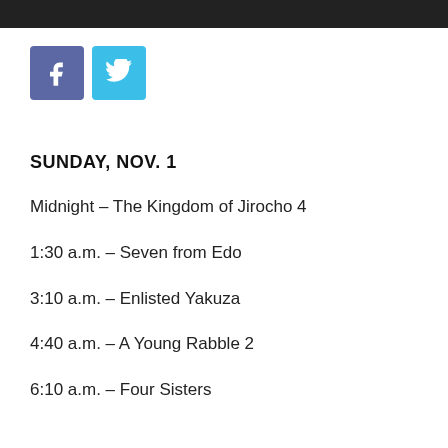[Figure (other): Social media share buttons: Facebook (blue-purple square with 'f' icon) and Twitter (cyan square with bird icon)]
SUNDAY, NOV. 1
Midnight – The Kingdom of Jirocho 4
1:30 a.m. – Seven from Edo
3:10 a.m. – Enlisted Yakuza
4:40 a.m. – A Young Rabble 2
6:10 a.m. – Four Sisters